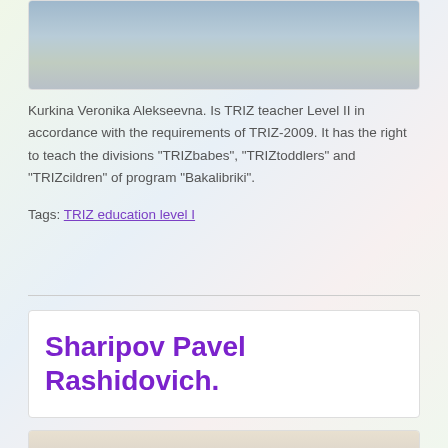[Figure (photo): Person holding a certificate in front of a map background]
Kurkina Veronika Alekseevna. Is TRIZ teacher Level II in accordance with the requirements of TRIZ-2009. It has the right to teach the divisions "TRIZbabes", "TRIZtoddlers" and "TRIZcildren" of program "Bakalibriki".
Tags: TRIZ education level I
Sharipov Pavel Rashidovich.
[Figure (photo): Person wearing a graduation cap in a classroom with drawings on the wall]